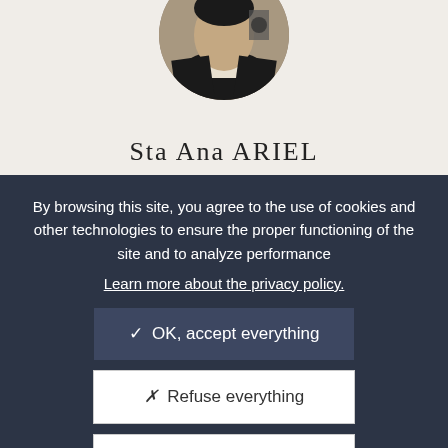[Figure (photo): Circular profile photo of a person in a suit, partially visible, black and white / sepia toned, shown from chest up]
Sta Ana ARIEL
By browsing this site, you agree to the use of cookies and other technologies to ensure the proper functioning of the site and to analyze performance
Learn more about the privacy policy.
✓ OK, accept everything
✗ Refuse everything
Personalize